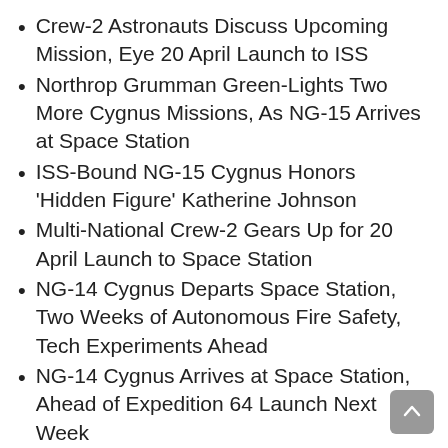Crew-2 Astronauts Discuss Upcoming Mission, Eye 20 April Launch to ISS
Northrop Grumman Green-Lights Two More Cygnus Missions, As NG-15 Arrives at Space Station
ISS-Bound NG-15 Cygnus Honors ‘Hidden Figure’ Katherine Johnson
Multi-National Crew-2 Gears Up for 20 April Launch to Space Station
NG-14 Cygnus Departs Space Station, Two Weeks of Autonomous Fire Safety, Tech Experiments Ahead
NG-14 Cygnus Arrives at Space Station, Ahead of Expedition 64 Launch Next Week
Antares Breaks Launch Week Curse, as SpaceX Suffers Last-Second Scrub
Scrub Week Continues, Antares Launch Now NT